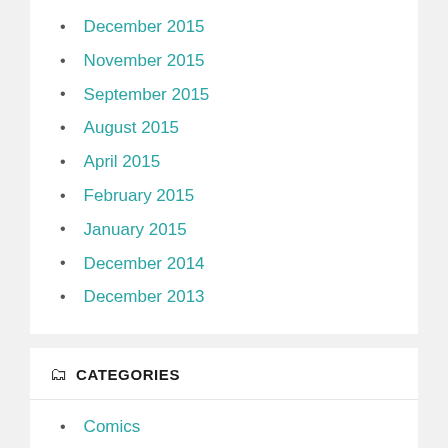December 2015
November 2015
September 2015
August 2015
April 2015
February 2015
January 2015
December 2014
December 2013
CATEGORIES
Comics
Disability
Gaming
LGBT
Music
Other
Podcasts
Support My Work
TV and Film